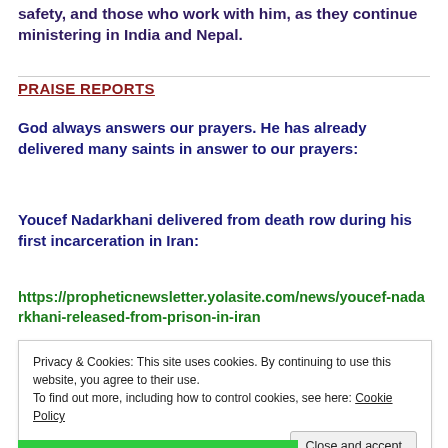safety, and those who work with him, as they continue ministering in India and Nepal.
PRAISE REPORTS
God always answers our prayers. He has already delivered many saints in answer to our prayers:
Youcef Nadarkhani delivered from death row during his first incarceration in Iran:
https://propheticnewsletter.yolasite.com/news/youcef-nadarkhani-released-from-prison-in-iran
Privacy & Cookies: This site uses cookies. By continuing to use this website, you agree to their use. To find out more, including how to control cookies, see here: Cookie Policy
Close and accept